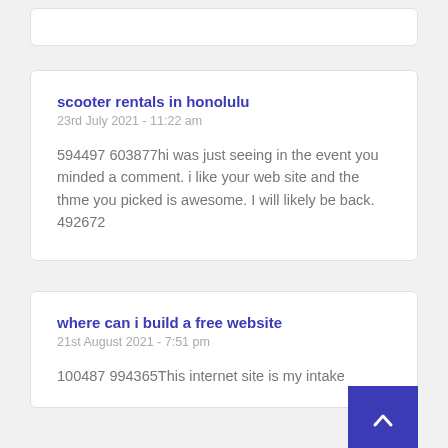(top card partial — empty/cut off)
scooter rentals in honolulu
23rd July 2021 - 11:22 am
594497 603877hi was just seeing in the event you minded a comment. i like your web site and the thme you picked is awesome. I will likely be back. 492672
where can i build a free website
21st August 2021 - 7:51 pm
100487 994365This internet site is my intake